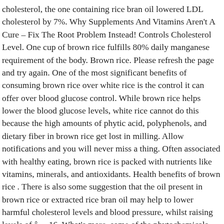cholesterol, the one containing rice bran oil lowered LDL cholesterol by 7%. Why Supplements And Vitamins Aren't A Cure – Fix The Root Problem Instead! Controls Cholesterol Level. One cup of brown rice fulfills 80% daily manganese requirement of the body. Brown rice. Please refresh the page and try again. One of the most significant benefits of consuming brown rice over white rice is the control it can offer over blood glucose control. While brown rice helps lower the blood glucose levels, white rice cannot do this because the high amounts of phytic acid, polyphenols, and dietary fiber in brown rice get lost in milling. Allow notifications and you will never miss a thing. Often associated with healthy eating, brown rice is packed with nutrients like vitamins, minerals, and antioxidants. Health benefits of brown rice . There is also some suggestion that the oil present in brown rice or extracted rice bran oil may help to lower harmful cholesterol levels and blood pressure, whilst raising levels of â… 16. What's more, some of the phytochemicals and minerals found in whole grains may be associated with a lower risk of certain cancers, HSPH says. Overview Information Brown rice is "unpolished" white rice. It may be brown, reddish or purplish in